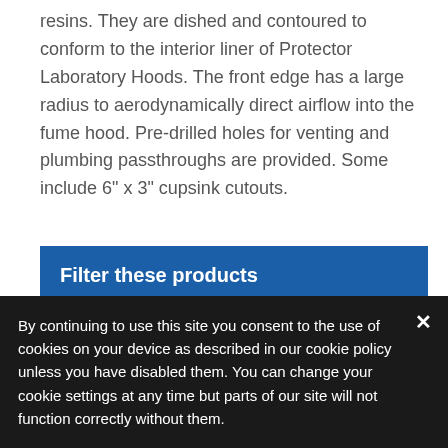resins. They are dished and contoured to conform to the interior liner of Protector Laboratory Hoods. The front edge has a large radius to aerodynamically direct airflow into the fume hood. Pre-drilled holes for venting and plumbing passthroughs are provided. Some include 6" x 3" cupsink cutouts.
Filter these products
Cupsink cutouts
By continuing to use this site you consent to the use of cookies on your device as described in our cookie policy unless you have disabled them. You can change your cookie settings at any time but parts of our site will not function correctly without them.